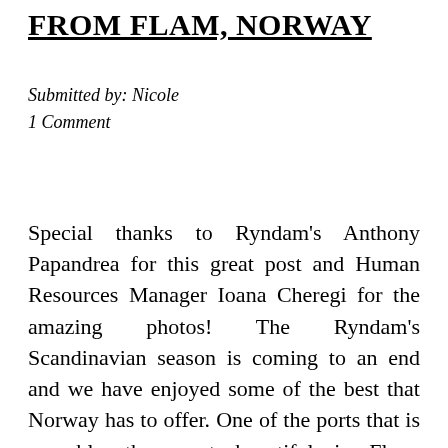FROM FLAM, NORWAY
Submitted by: Nicole
1 Comment
Special thanks to Ryndam's Anthony Papandrea for this great post and Human Resources Manager Ioana Cheregi for the amazing photos! The Ryndam's Scandinavian season is coming to an end and we have enjoyed some of the best that Norway has to offer. One of the ports that is arguably the most beautiful is Flam. Whether… read more of "Ryndam